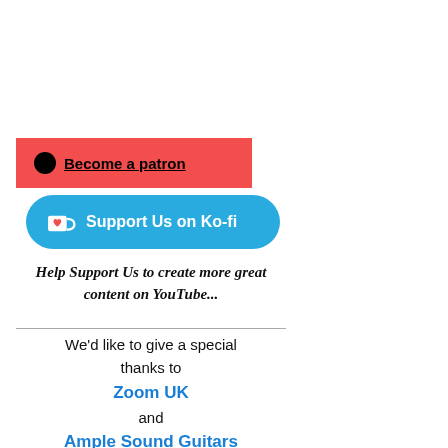[Figure (other): Red Patreon button with black circle icon and underlined text 'Become a patron']
[Figure (other): Blue Ko-fi button with coffee cup icon and white text 'Support Us on Ko-fi']
Help Support Us to create more great content on YouTube...
We'd like to give a special thanks to Zoom UK and Ample Sound Guitars for donating their products, supporting our Channels and